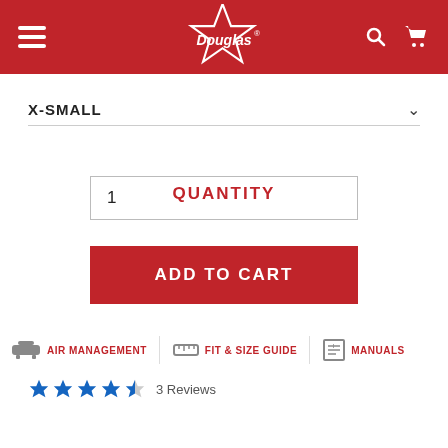[Figure (logo): Douglas brand logo with star on red header background, with hamburger menu icon on left and search/cart icons on right]
X-SMALL
QUANTITY
1
ADD TO CART
AIR MANAGEMENT
FIT & SIZE GUIDE
MANUALS
3 Reviews